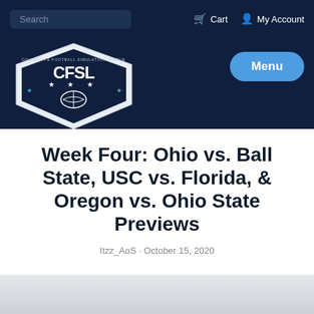Search | Cart | My Account
[Figure (logo): CFSL (Collegiate Football Simulation League) logo — shield shape with football and stars, white/navy on dark background]
Menu
Week Four: Ohio vs. Ball State, USC vs. Florida, & Oregon vs. Ohio State Previews
Itzz_AoS · October 15, 2020